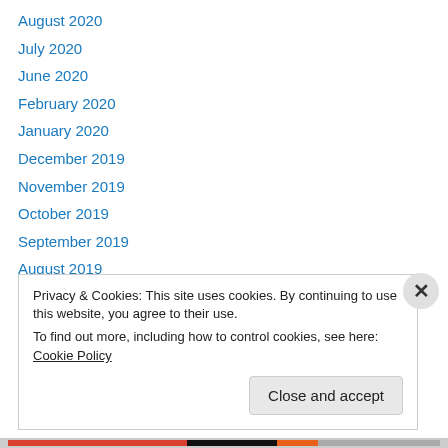August 2020
July 2020
June 2020
February 2020
January 2020
December 2019
November 2019
October 2019
September 2019
August 2019
July 2019
June 2019
May 2019
Privacy & Cookies: This site uses cookies. By continuing to use this website, you agree to their use. To find out more, including how to control cookies, see here: Cookie Policy